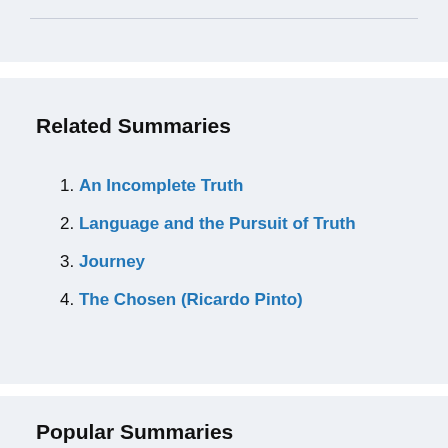Related Summaries
An Incomplete Truth
Language and the Pursuit of Truth
Journey
The Chosen (Ricardo Pinto)
Popular Summaries
The 48 Laws Of Power